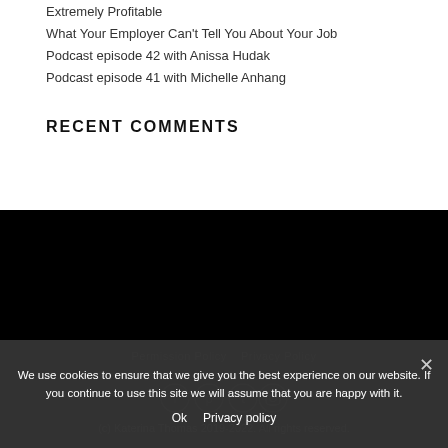Extremely Profitable
What Your Employer Can't Tell You About Your Job
Podcast episode 42 with Anissa Hudak
Podcast episode 41 with Michelle Anhang
Recent Comments
[Figure (other): Black background section, likely a video embed placeholder]
Permission Policy  Privacy Policy
(c) Katerina Thomas 2019-2022. All rights reserved.
We use cookies to ensure that we give you the best experience on our website. If you continue to use this site we will assume that you are happy with it.
Ok  Privacy policy